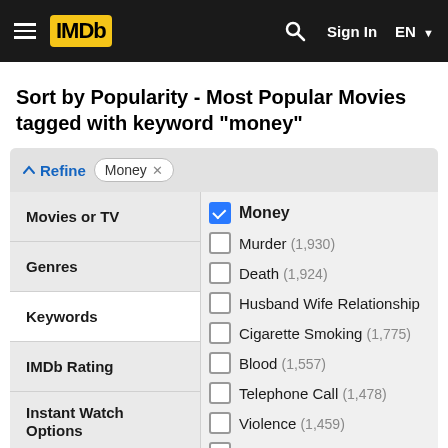IMDb - Sort by Popularity - Most Popular Movies tagged with keyword "money"
Sort by Popularity - Most Popular Movies tagged with keyword "money"
Refine | Money ×
Movies or TV
Genres
Keywords
IMDb Rating
Instant Watch Options
In Theaters
On TV
Release Year
Money (checked)
Murder (1,930)
Death (1,924)
Husband Wife Relationship
Cigarette Smoking (1,775)
Blood (1,557)
Telephone Call (1,478)
Violence (1,459)
Father Son Relationship (1,
Police (1,449)
Gun (1,412)
Photograph (1,412)
Friendship (1,389)